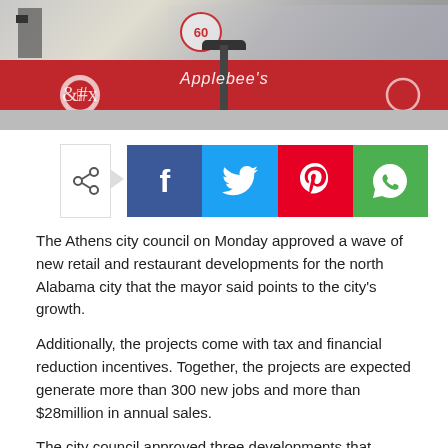[Figure (photo): Street-level photo of an Applebee's restaurant storefront with red branding, a glass-railed upper level, and a street lamp in the foreground.]
[Figure (infographic): Social media share buttons: a native share icon with arrow, followed by Facebook (blue), Twitter (light blue), Pinterest (red), and WhatsApp (green) buttons.]
The Athens city council on Monday approved a wave of new retail and restaurant developments for the north Alabama city that the mayor said points to the city's growth.
Additionally, the projects come with tax and financial reduction incentives. Together, the projects are expected generate more than 300 new jobs and more than $28million in annual sales.
The city council approved three developments that include